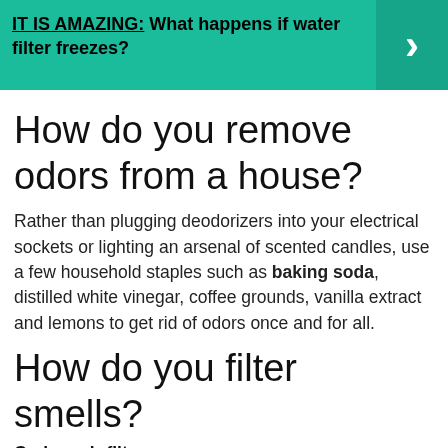[Figure (infographic): Teal banner with text: IT IS AMAZING: What happens if water filter freezes? with a right-arrow chevron button on the right side]
How do you remove odors from a house?
Rather than plugging deodorizers into your electrical sockets or lighting an arsenal of scented candles, use a few household staples such as baking soda, distilled white vinegar, coffee grounds, vanilla extract and lemons to get rid of odors once and for all.
How do you filter smells?
Carbon air filters